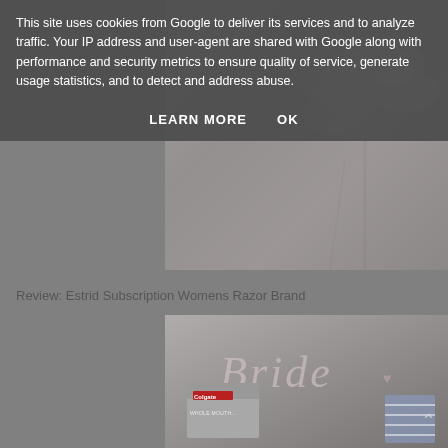This site uses cookies from Google to deliver its services and to analyze traffic. Your IP address and user-agent are shared with Google along with performance and security metrics to ensure quality of service, generate usage statistics, and to detect and address abuse.
LEARN MORE    OK
[Figure (photo): A grayscale/muted photo of flowers on a light surface, partially overlaid by the cookie consent banner]
Review: Estrid Subscription Womens Razor Brand
[Figure (photo): A muted gray-toned image showing a mug or cup with 'Bride' written in cursive script, along with a Colgate toothpaste box and another item at the bottom]